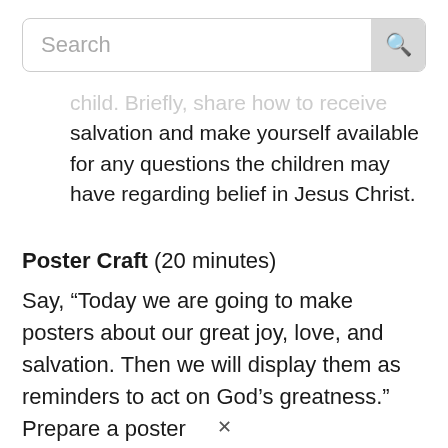[Figure (screenshot): Search bar with magnifying glass icon on the right]
child. Briefly share how to receive salvation and make yourself available for any questions the children may have regarding belief in Jesus Christ.
Poster Craft (20 minutes)
Say, “Today we are going to make posters about our great joy, love, and salvation. Then we will display them as reminders to act on God’s greatness.” Prepare a poster